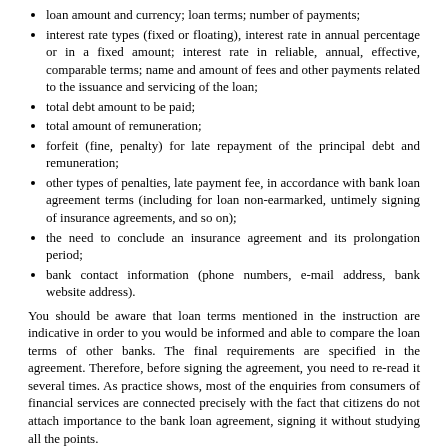loan amount and currency; loan terms; number of payments;
interest rate types (fixed or floating), interest rate in annual percentage or in a fixed amount; interest rate in reliable, annual, effective, comparable terms; name and amount of fees and other payments related to the issuance and servicing of the loan;
total debt amount to be paid;
total amount of remuneration;
forfeit (fine, penalty) for late repayment of the principal debt and remuneration;
other types of penalties, late payment fee, in accordance with bank loan agreement terms (including for loan non-earmarked, untimely signing of insurance agreements, and so on);
the need to conclude an insurance agreement and its prolongation period;
bank contact information (phone numbers, e-mail address, bank website address).
You should be aware that loan terms mentioned in the instruction are indicative in order to you would be informed and able to compare the loan terms of other banks. The final requirements are specified in the agreement. Therefore, before signing the agreement, you need to re-read it several times. As practice shows, most of the enquiries from consumers of financial services are connected precisely with the fact that citizens do not attach importance to the bank loan agreement, signing it without studying all the points.
The bank loan agreement, in addition to the instruction, is also accompanied by a title page, the format of which is the same for all banks.
The title page contains information about: